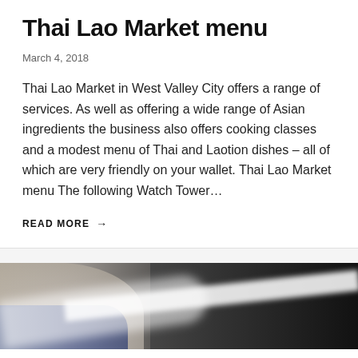Thai Lao Market menu
March 4, 2018
Thai Lao Market in West Valley City offers a range of services. As well as offering a wide range of Asian ingredients the business also offers cooking classes and a modest menu of Thai and Laotion dishes – all of which are very friendly on your wallet. Thai Lao Market menu The following Watch Tower…
READ MORE →
[Figure (photo): Blurred photo of dishes/plates on a dark background, partially visible at bottom of page]